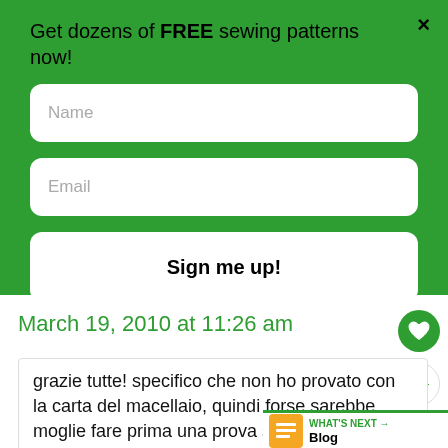Get dozens of FREE sewing patterns now!
Name
Email
Sign me up!
March 19, 2010 at 11:26 am
grazie tutte! specifico che non ho provato con la carta del macellaio, quindi forse sarebbe meglio fare prima una prova su